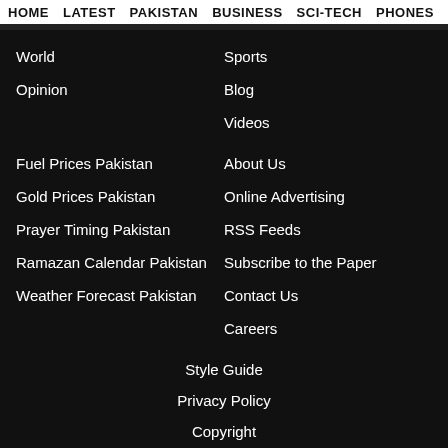HOME  LATEST  PAKISTAN  BUSINESS  SCI-TECH  PHONES  W  ≡
|| RAISE FUNDS FOR FLOOD VICTIMS  • PM ORDERS INQUIRY INTO DAMAGE CAUSED
World
Opinion
Sports
Blog
Videos
Fuel Prices Pakistan
Gold Prices Pakistan
Prayer Timing Pakistan
Ramazan Calendar Pakistan
Weather Forecast Pakistan
About Us
Online Advertising
RSS Feeds
Subscribe to the Paper
Contact Us
Careers
Style Guide
Privacy Policy
Copyright
Code of ethics